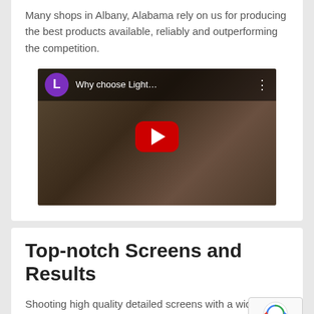Many shops in Albany, Alabama rely on us for producing the best products available, reliably and outperforming the competition.
[Figure (screenshot): YouTube video thumbnail showing a person in a red shirt in a workshop/print shop. Video title reads 'Why choose Light...' with a purple avatar circle with letter L and a YouTube play button overlay.]
Top-notch Screens and Results
Shooting high quality detailed screens with a wide range of emulsions is